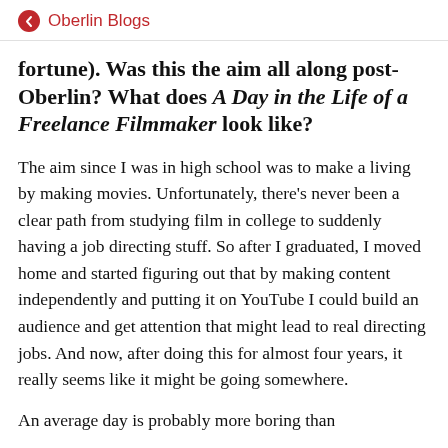Oberlin Blogs
fortune). Was this the aim all along post-Oberlin? What does A Day in the Life of a Freelance Filmmaker look like?
The aim since I was in high school was to make a living by making movies. Unfortunately, there’s never been a clear path from studying film in college to suddenly having a job directing stuff. So after I graduated, I moved home and started figuring out that by making content independently and putting it on YouTube I could build an audience and get attention that might lead to real directing jobs. And now, after doing this for almost four years, it really seems like it might be going somewhere.
An average day is probably more boring than